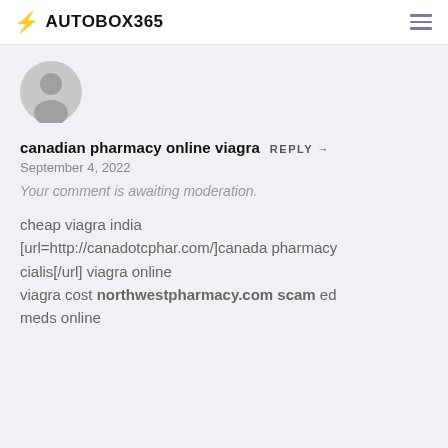AUTOBOX365
[Figure (illustration): Generic user avatar — grey circle with silhouette of a person]
canadian pharmacy online viagra  REPLY →
September 4, 2022
Your comment is awaiting moderation.
cheap viagra india [url=http://canadotcphar.com/]canada pharmacy cialis[/url] viagra online
viagra cost northwestpharmacy.com scam ed meds online